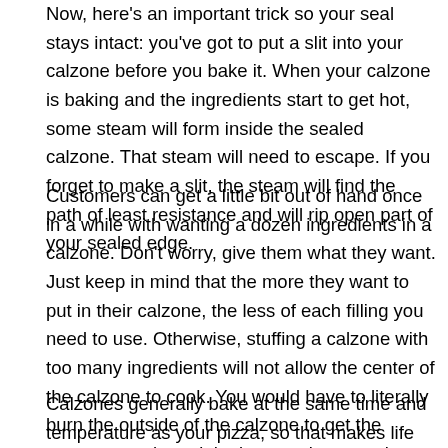Now, here's an important trick so your seal stays intact: you've got to put a slit into your calzone before you bake it. When your calzone is baking and the ingredients start to get hot, some steam will form inside the sealed calzone. That steam will need to escape. If you forget to make a slit, the steam will find the path of least resistance and will rip open part of your sealed edge.
Customers can get a little bit out of hand once in a while with wanting a dozen ingredients in a calzone. Don't worry, give them what they want. Just keep in mind that the more they want to put in their calzone, the less of each filling you need to use. Otherwise, stuffing a calzone with too many ingredients will not allow the center of the calzone to cook. You would have to literally burn the outside of the calzone to get the center to cook, and that's not going to make anybody happy.
Calzones generally bake at the same time and temperature as your pizza, so that makes life pretty easy when making that decision to add calzones to your menu.